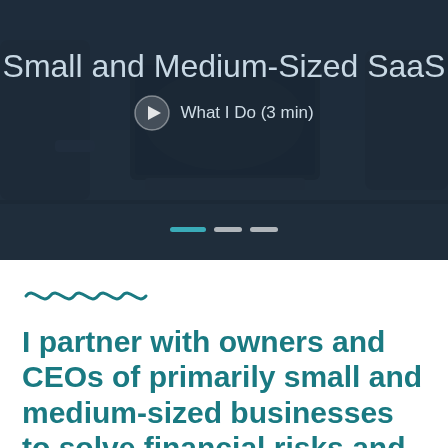[Figure (screenshot): Hero banner image showing a dark office desk scene with a laptop, overlaid with semi-transparent dark teal/navy overlay. Contains the title 'Small and Medium-Sized SaaS', a video play button with text 'What I Do (3 min)', and slider navigation dots at the bottom.]
[Figure (illustration): Teal squiggly/wavy decorative line divider]
I partner with owners and CEOs of primarily small and medium-sized businesses to solve financial risks and headaches. My philosophy